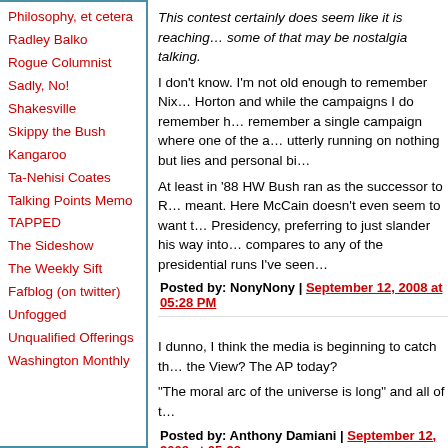Philosophy, et cetera
Radley Balko
Rogue Columnist
Sadly, No!
Shakesville
Skippy the Bush Kangaroo
Ta-Nehisi Coates
Talking Points Memo
TAPPED
The Sideshow
The Weekly Sift
Fafblog (on twitter)
Unfogged
Unqualified Offerings
Washington Monthly
This contest certainly does seem like it is reaching... some of that may be nostalgia talking.
I don't know. I'm not old enough to remember Nix... Horton and while the campaigns I do remember h... remember a single campaign where one of the a... utterly running on nothing but lies and personal bi...
At least in '88 HW Bush ran as the successor to R... meant. Here McCain doesn't even seem to want t... Presidency, preferring to just slander his way into... compares to any of the presidential runs I've seen...
Posted by: NonyNony | September 12, 2008 at 05:28 PM
I dunno, I think the media is beginning to catch th... the View? The AP today?
"The moral arc of the universe is long" and all of t...
Posted by: Anthony Damiani | September 12, 2008 at 05:28...
What I don't get is that there's a narrative they co...